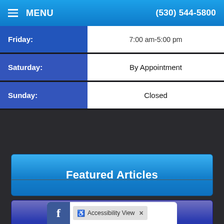MENU | (530) 544-5800
| Day | Hours |
| --- | --- |
| Friday: | 7:00 am-5:00 pm |
| Saturday: | By Appointment |
| Sunday: | Closed |
Featured Articles
Testimonials
[Figure (screenshot): Facebook icon and Accessibility View button at bottom of page]